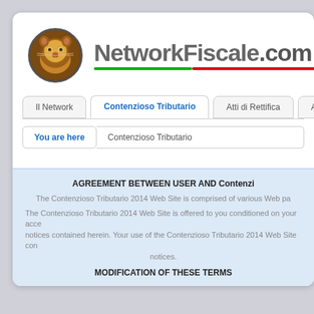[Figure (logo): NetworkFiscale.com logo with lion circle icon and site name with green/red underlines]
Il Network | Contenzioso Tributario | Atti di Rettifica | Accertamenti
You are here   Contenzioso Tributario
AGREEMENT BETWEEN USER AND Contenzioso Tributario
The Contenzioso Tributario 2014 Web Site is comprised of various Web pa
The Contenzioso Tributario 2014 Web Site is offered to you conditioned on your acceptance notices contained herein. Your use of the Contenzioso Tributario 2014 Web Site con notices.
MODIFICATION OF THESE TERMS